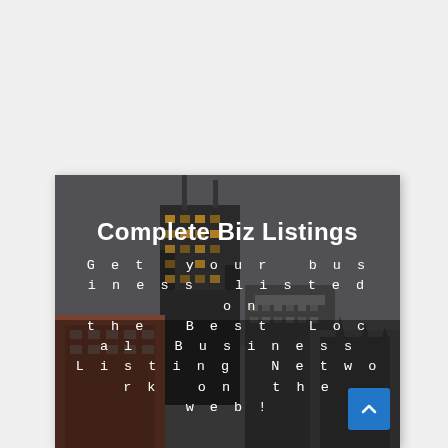[Figure (photo): City skyline photo with tall skyscraper (Willis/Sears Tower) against a grey sky, with text overlay 'Complete Biz Listings' and 'Get your business listed on the Best Local Business Listing Network on the web!']